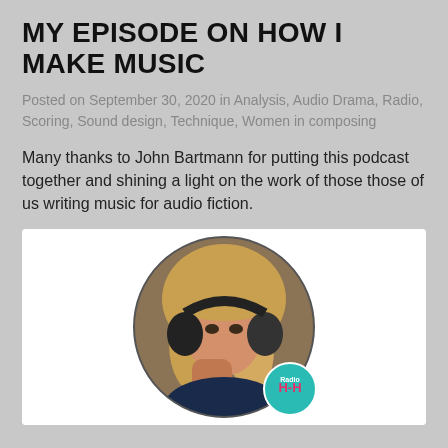MY EPISODE ON HOW I MAKE MUSIC
Posted on September 30, 2020 in Analysis, Audio Drama, Radio, Scoring, Sound design, Technique, Women in composing
Many thanks to John Bartmann for putting this podcast together and shining a light on the work of those those of us writing music for audio fiction.
[Figure (photo): Circular cropped photo of a woman with blonde hair wearing large headphones, hand raised near her face, with a teal podcast logo badge in the lower right corner. White background container.]